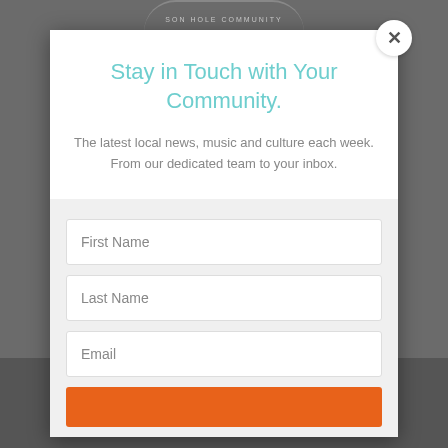Stay in Touch with Your Community.
The latest local news, music and culture each week. From our dedicated team to your inbox.
First Name
Last Name
Email